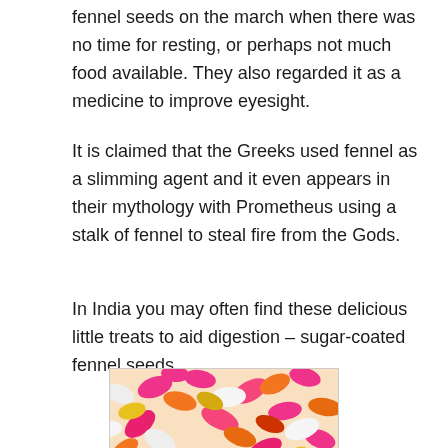fennel seeds on the march when there was no time for resting, or perhaps not much food available. They also regarded it as a medicine to improve eyesight.
It is claimed that the Greeks used fennel as a slimming agent and it even appears in their mythology with Prometheus using a stalk of fennel to steal fire from the Gods.
In India you may often find these delicious little treats to aid digestion – sugar-coated fennel seeds.
[Figure (photo): A close-up photograph of sugar-coated fennel seeds in various colors: pink, orange, white, yellow, and red, scattered densely together.]